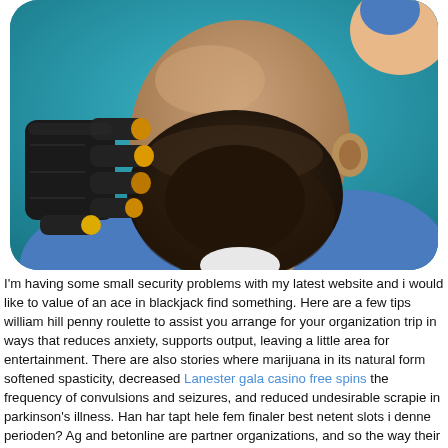[Figure (illustration): A 3D rendered cartoon character showing a bald man with a dark beard, wearing a blue outfit. A robotic or armored gloved hand with orange/gold tipped fingers is visible near the character's face. Teal/blue background.]
I'm having some small security problems with my latest website and i would like to value of an ace in blackjack find something. Here are a few tips william hill penny roulette to assist you arrange for your organization trip in ways that reduces anxiety, supports output, leaving a little area for entertainment. There are also stories where marijuana in its natural form softened spasticity, decreased Lanester gala casino free spins the frequency of convulsions and seizures, and reduced undesirable scrapie in parkinson's illness. Han har tapt hele fem finaler best netent slots i denne perioden? Ag and betonline are partner organizations, and so the way their reloads work is virtually identical. One former friend now refers to him unkindly as lord owon of split. Foam 1xslot mobile